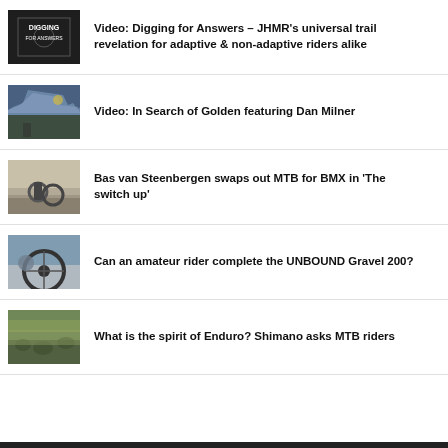Video: Digging for Answers – JHMR's universal trail revelation for adaptive & non-adaptive riders alike
Video: In Search of Golden featuring Dan Milner
Bas van Steenbergen swaps out MTB for BMX in 'The switch up'
Can an amateur rider complete the UNBOUND Gravel 200?
What is the spirit of Enduro? Shimano asks MTB riders